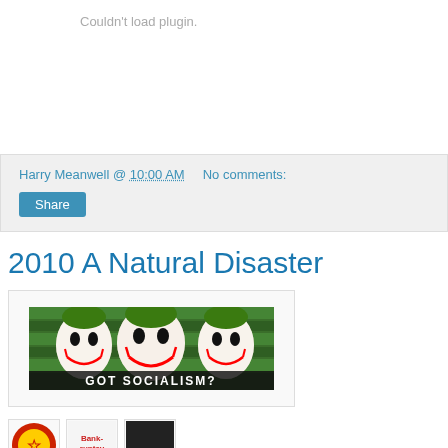Couldn't load plugin.
Harry Meanwell @ 10:00 AM   No comments:
Share
2010 A Natural Disaster
[Figure (photo): Three people with Joker makeup against a green striped background, with text 'GOT SOCIALISM?' at the bottom]
[Figure (photo): Small thumbnail image with circular logo]
[Figure (photo): Small thumbnail image with 'Bankruptcy' text]
[Figure (photo): Small thumbnail image]
Help! We're bankrupt